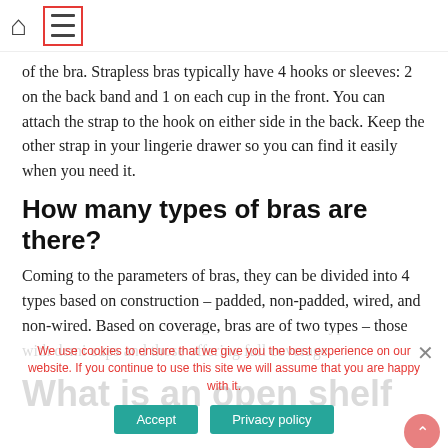Navigation bar with home icon and menu icon
of the bra. Strapless bras typically have 4 hooks or sleeves: 2 on the back band and 1 on each cup in the front. You can attach the strap to the hook on either side in the back. Keep the other strap in your lingerie drawer so you can find it easily when you need it.
How many types of bras are there?
Coming to the parameters of bras, they can be divided into 4 types based on construction – padded, non-padded, wired, and non-wired. Based on coverage, bras are of two types – those with demi cups and those offering full coverage.
What is an open shelf
We use cookies to ensure that we give you the best experience on our website. If you continue to use this site we will assume that you are happy with it.